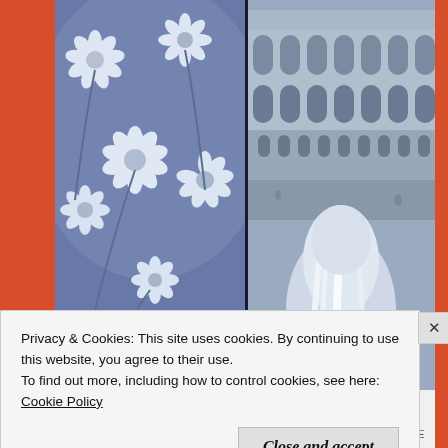[Figure (illustration): Book cover split into two panels. Left panel shows blue-tinted white daisy flowers. Right panel shows a blue-tinted photo of a woman with long blonde/white hair seen from behind, looking at the Roman Colosseum interior. At the bottom of the left panel is a dark title bar reading 'The Question' in white italic text. The overall background is orange-red.]
Privacy & Cookies: This site uses cookies. By continuing to use this website, you agree to their use.
To find out more, including how to control cookies, see here:
Cookie Policy
Close and accept